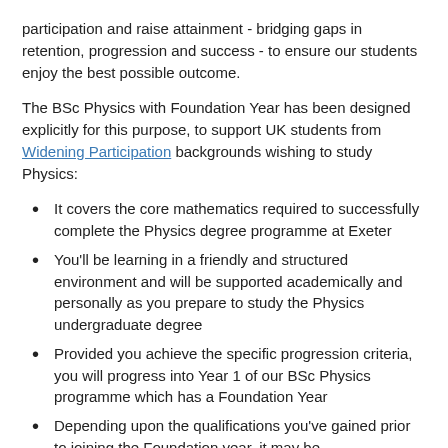participation and raise attainment - bridging gaps in retention, progression and success - to ensure our students enjoy the best possible outcome.
The BSc Physics with Foundation Year has been designed explicitly for this purpose, to support UK students from Widening Participation backgrounds wishing to study Physics:
It covers the core mathematics required to successfully complete the Physics degree programme at Exeter
You'll be learning in a friendly and structured environment and will be supported academically and personally as you prepare to study the Physics undergraduate degree
Provided you achieve the specific progression criteria, you will progress into Year 1 of our BSc Physics programme which has a Foundation Year
Depending upon the qualifications you've gained prior to joining the Foundation year, it may be...